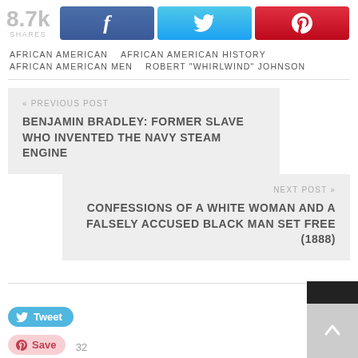8.7k SHARES
f (Facebook share button)
Twitter share button
Pinterest share button
AFRICAN AMERICAN   AFRICAN AMERICAN HISTORY   AFRICAN AMERICAN MEN   ROBERT "WHIRLWIND" JOHNSON
« PREVIOUS POST
BENJAMIN BRADLEY: FORMER SLAVE WHO INVENTED THE NAVY STEAM ENGINE
NEXT POST »
CONFESSIONS OF A WHITE WOMAN AND A FALSELY ACCUSED BLACK MAN SET FREE (1888)
Tweet
Save  32